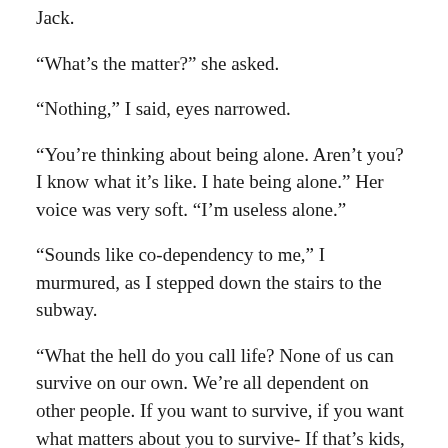…of having mommy fingers tightened around Jack.
“What’s the matter?” she asked.
“Nothing,” I said, eyes narrowed.
“You’re thinking about being alone. Aren’t you? I know what it’s like. I hate being alone.” Her voice was very soft. “I’m useless alone.”
“Sounds like co-dependency to me,” I murmured, as I stepped down the stairs to the subway.
“What the hell do you call life? None of us can survive on our own. We’re all dependent on other people. If you want to survive, if you want what matters about you to survive- If that’s kids, or what you believe in, or your religion, or whatever else- you need other people.” She snorted. “You need…